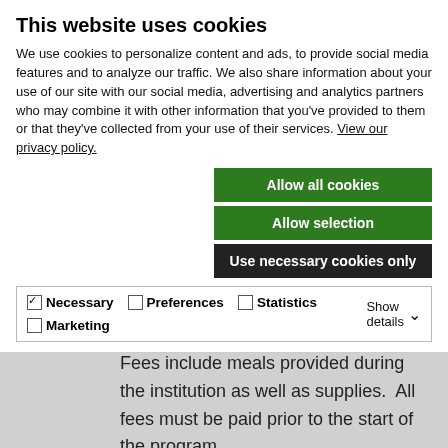This website uses cookies
We use cookies to personalize content and ads, to provide social media features and to analyze our traffic. We also share information about your use of our site with our social media, advertising and analytics partners who may combine it with other information that you've provided to them or that they've collected from your use of their services. View our privacy policy.
Allow all cookies
Allow selection
Use necessary cookies only
Necessary  Preferences  Statistics  Marketing  Show details
member colleges and $2000 for employees of non-member colleges.  Fees include meals provided during the institution as well as supplies.  All fees must be paid prior to the start of the program.
Application materials:
Current resume/CV (PDF)
A letter of recommendation from your college